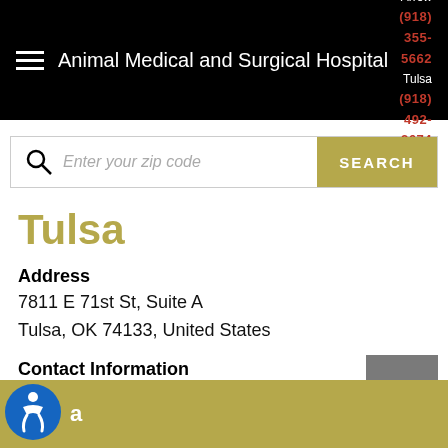Animal Medical and Surgical Hospital | Broken Arrow (918) 355-5662 | Tulsa (918) 492-2674
[Figure (screenshot): Search bar with zip code input and SEARCH button]
Tulsa
Address
7811 E 71st St, Suite A
Tulsa, OK 74133, United States
Contact Information
Phone:  (918) 492-2674
a